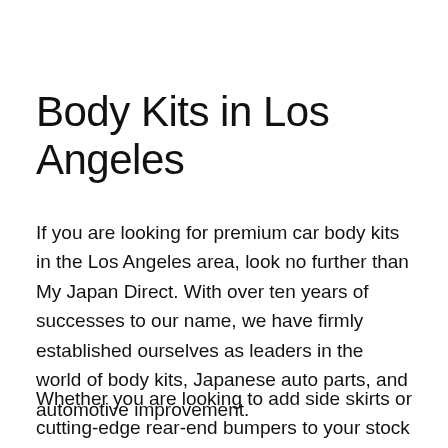Body Kits in Los Angeles
If you are looking for premium car body kits in the Los Angeles area, look no further than My Japan Direct. With over ten years of successes to our name, we have firmly established ourselves as leaders in the world of body kits, Japanese auto parts, and automotive improvement.
Whether you are looking to add side skirts or cutting-edge rear-end bumpers to your stock BMW, we can most certainly help you. We carry products from key